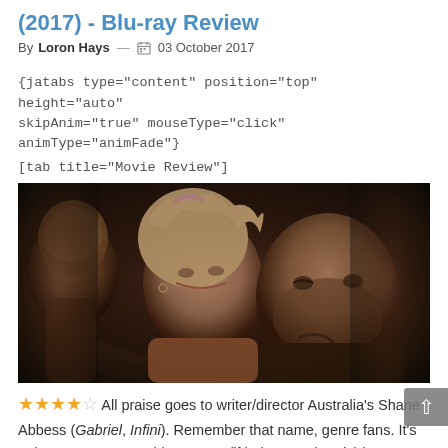(2017) - Blu-ray Review
By Loron Hays — 03 October 2017
{jatabs type="content" position="top" height="auto" skipAnim="true" mouseType="click" animType="animFade"}
[tab title="Movie Review"]
[Figure (photo): Scene from The Osiris Child (2017) showing a blonde woman leaning against a man in a dark setting]
★★★★☆ All praise goes to writer/director Australia's Shane Abbess (Gabriel, Infini). Remember that name, genre fans. It's going to mean something to you (if it doesn't already) because what this artist has assembled with his latest release is going to stand the test of time. The Osiris Child is THAT good.